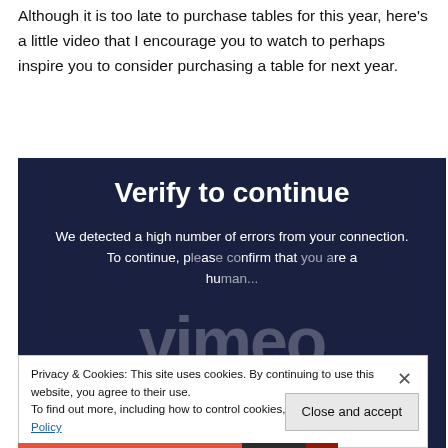Although it is too late to purchase tables for this year, here's a little video that I encourage you to watch to perhaps inspire you to consider purchasing a table for next year.
[Figure (screenshot): Vimeo video embed showing 'Verify to continue' overlay. Dark navy background with large white bold text 'Verify to continue' and body text 'We detected a high number of errors from your connection. To continue, please confirm that you are a hu...' with 'vimeo' watermark text overlaid in large translucent white letters.]
Privacy & Cookies: This site uses cookies. By continuing to use this website, you agree to their use.
To find out more, including how to control cookies, see here: Cookie Policy
Close and accept